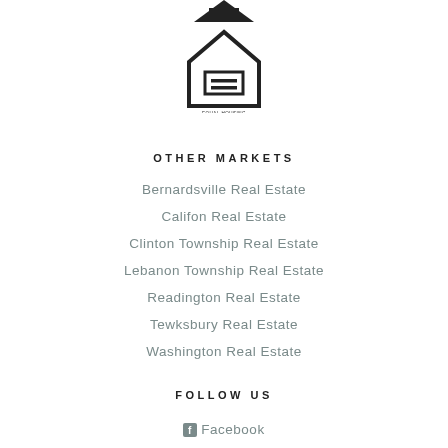[Figure (logo): Partial logo (arrow/chevron shape) cropped at top of page]
[Figure (logo): Equal Housing Opportunity logo — house outline with an equals sign inside and text 'EQUAL HOUSING OPPORTUNITY' below]
OTHER MARKETS
Bernardsville Real Estate
Califon Real Estate
Clinton Township Real Estate
Lebanon Township Real Estate
Readington Real Estate
Tewksbury Real Estate
Washington Real Estate
FOLLOW US
Facebook